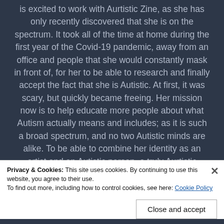is excited to work with Aurtistic Zine, as she has only recently discovered that she is on the spectrum. It took all of the time at home during the first year of the Covid-19 pandemic, away from an office and people that she would constantly mask in front of, for her to be able to research and finally accept the fact that she is Autistic. At first, it was scary, but quickly became freeing. Her mission now is to help educate more people about what Autism actually means and includes; as it is such a broad spectrum, and no two Autistic minds are alike. To be able to combine her identity as an artist and an Autistic person, a truly Aurtistic individual, is extremely meaningful
Privacy & Cookies: This site uses cookies. By continuing to use this website, you agree to their use.
To find out more, including how to control cookies, see here: Cookie Policy
Close and accept